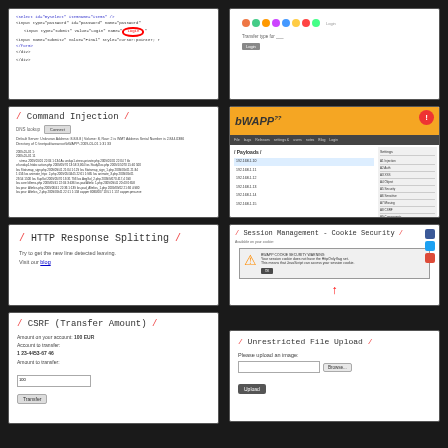[Figure (screenshot): Screenshot of XML/HTML code with a red oval highlight on an attribute value]
[Figure (screenshot): Screenshot showing colorful flower icons and a text input field with a Login button]
[Figure (screenshot): Command Injection page in BWAPP-style white UI showing DNS lookup results with system output]
[Figure (screenshot): BWAPP web application interface with orange header, dark navigation bar, and content/sidebar layout]
[Figure (screenshot): HTTP Response Splitting page with handwritten-style title and text 'Try to get the new line detected leaving. Visit our blog']
[Figure (screenshot): Session Management - Cookie Security page with social media icons and a warning dialog with red arrow]
[Figure (screenshot): CSRF (Transfer Amount) form showing account balance, account to transfer field, amount to transfer input, and Transfer button]
[Figure (screenshot): Unrestricted File Upload page with 'Please upload an image' label, file browse input, and Upload button]